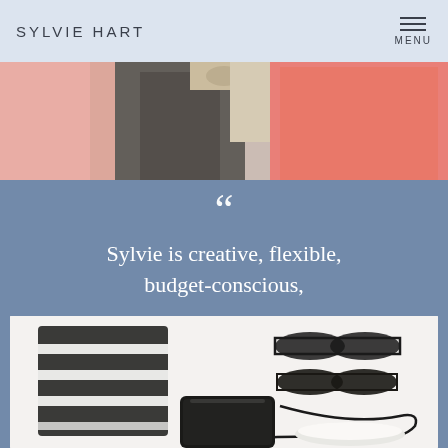SYLVIE HART | MENU
[Figure (photo): Photo of clothing hanging on a rack, showing pink, brown/grey, and coral garments with hangers visible]
““ Sylvie is creative, flexible, budget-conscious, fun, and efficient! – Meg
[Figure (photo): Flat lay photo of fashion accessories including striped scarf/sweater, sunglasses (two pairs), white sneakers, and a black crossbody bag on white background]